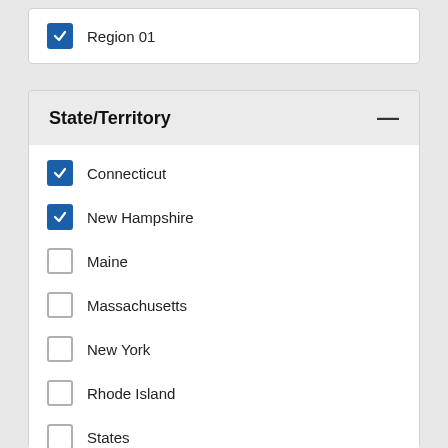Region 01 (checked)
State/Territory
Connecticut (checked)
New Hampshire (checked)
Maine (unchecked)
Massachusetts (unchecked)
New York (unchecked)
Rhode Island (unchecked)
States (unchecked)
United States (unchecked)
Vermont (unchecked)